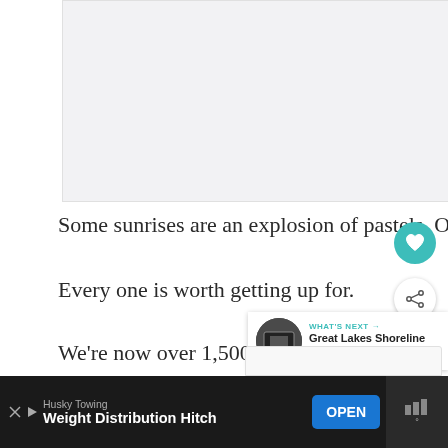[Figure (photo): Light gray placeholder area representing a photo (sunrise image area, partially visible at top of page)]
Some sunrises are an explosion of pastels. Others bright gold and yellow.
Every one is worth getting up for.
We're now over 1,500 miles into our Verizo[n]
[Figure (screenshot): WHAT'S NEXT arrow label with thumbnail image and text: Great Lakes Shoreline To...]
[Figure (screenshot): Bottom dialog partial white box]
Husky Towing Weight Distribution Hitch OPEN [advertisement]